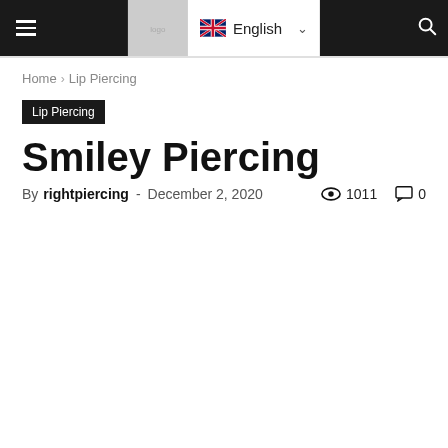Navigation bar with hamburger menu, logo, English language selector, and search icon
Home › Lip Piercing
Lip Piercing
Smiley Piercing
By rightpiercing - December 2, 2020  👁 1011  💬 0